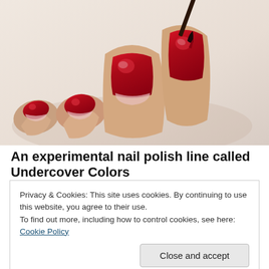[Figure (photo): Close-up photograph of a hand with nails painted in deep red/crimson nail polish. A nail polish brush is seen applying polish to one nail. The fingernails have a glossy red finish against a light beige/skin-toned background.]
An experimental nail polish line called Undercover Colors
Privacy & Cookies: This site uses cookies. By continuing to use this website, you agree to their use.
To find out more, including how to control cookies, see here: Cookie Policy
Close and accept